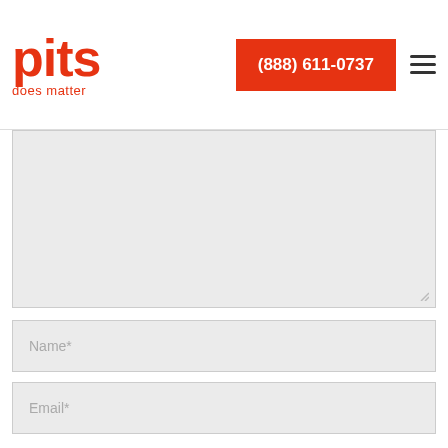[Figure (logo): pits does matter logo in red]
(888) 611-0737
[Figure (other): Hamburger menu icon]
[Figure (other): Large comment/message textarea input field (empty, grey background)]
Name*
Email*
Website
Save my name, email, and website in this browser for the next time I comment.
Post comment